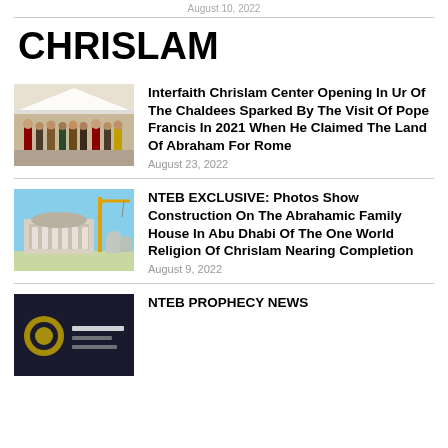August 10, 2022
CHRISLAM
[Figure (photo): Group of religious leaders in ceremonial robes standing together outdoors under a white tent canopy]
Interfaith Chrislam Center Opening In Ur Of The Chaldees Sparked By The Visit Of Pope Francis In 2021 When He Claimed The Land Of Abraham For Rome
August 23, 2022
[Figure (photo): Construction site showing a building under construction with cranes against a blue sky]
NTEB EXCLUSIVE: Photos Show Construction On The Abrahamic Family House In Abu Dhabi Of The One World Religion Of Chrislam Nearing Completion
August 9, 2022
[Figure (photo): Dark thumbnail with text, appears to be NTEB Prophecy News]
NTEB PROPHECY NEWS